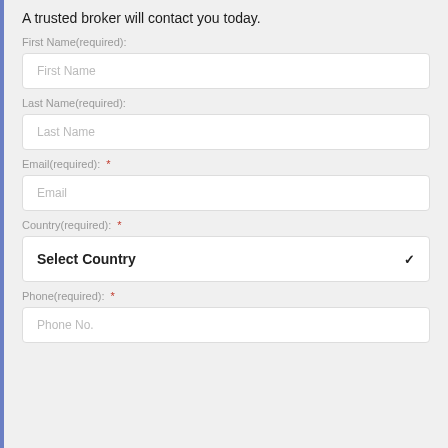A trusted broker will contact you today.
First Name(required):
First Name
Last Name(required):
Last Name
Email(required): *
Email
Country(required): *
Select Country
Phone(required): *
Phone No.